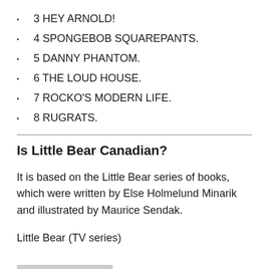3 HEY ARNOLD!
4 SPONGEBOB SQUAREPANTS.
5 DANNY PHANTOM.
6 THE LOUD HOUSE.
7 ROCKO'S MODERN LIFE.
8 RUGRATS.
Is Little Bear Canadian?
It is based on the Little Bear series of books, which were written by Else Holmelund Minarik and illustrated by Maurice Sendak.
Little Bear (TV series)